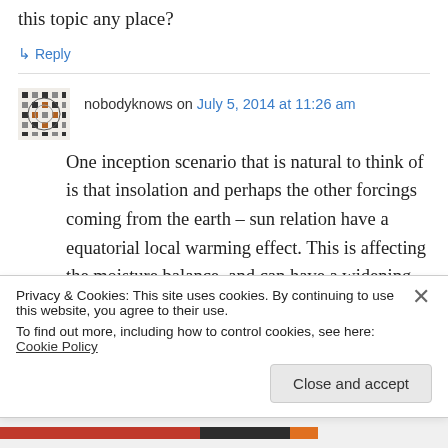this topic any place?
↳ Reply
nobodyknows on July 5, 2014 at 11:26 am
One inception scenario that is natural to think of is that insolation and perhaps the other forcings coming from the earth – sun relation have a equatorial local warming effect. This is affecting the moisture balance, and can have a widening effect over greater areas. A new moisture
Privacy & Cookies: This site uses cookies. By continuing to use this website, you agree to their use.
To find out more, including how to control cookies, see here: Cookie Policy
Close and accept